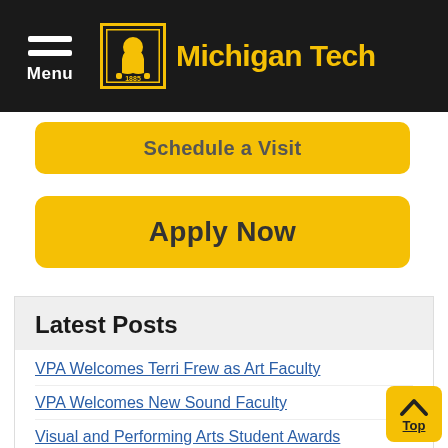Michigan Tech
[Figure (screenshot): Michigan Tech website navigation header with hamburger menu, wolf logo, and Michigan Tech name in yellow on black background]
Schedule a Visit (button, partially visible)
Apply Now (button)
Latest Posts
VPA Welcomes Terri Frew as Art Faculty
VPA Welcomes New Sound Faculty
Visual and Performing Arts Student Awards
Engineering the Video Game Music Ensemble
Don Keranen Jazz Awards